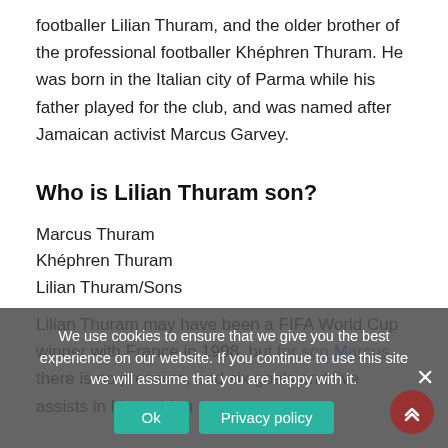footballer Lilian Thuram, and the older brother of the professional footballer Khéphren Thuram. He was born in the Italian city of Parma while his father played for the club, and was named after Jamaican activist Marcus Garvey.
Who is Lilian Thuram son?
Marcus Thuram
Khéphren Thuram
Lilian Thuram/Sons
Lilian Thuram may have been a FIFA World Cup winner with France in 1998, but for son Marcus there is no pressure, and six goals and five assists in his maiden
We use cookies to ensure that we give you the best experience on our website. If you continue to use this site we will assume that you are happy with it.